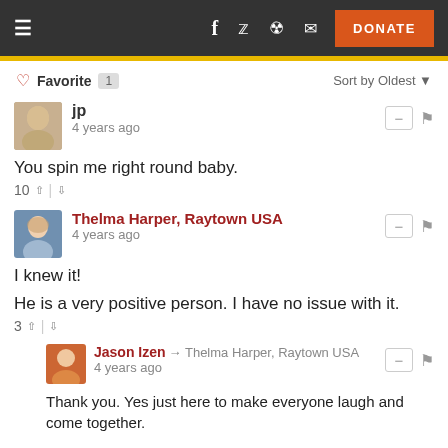Navigation bar with hamburger menu, social icons (Facebook, Twitter, Reddit, email), and DONATE button
Favorite 1   Sort by Oldest
jp
4 years ago
You spin me right round baby.
10
Thelma Harper, Raytown USA
4 years ago
I knew it!
He is a very positive person. I have no issue with it.
3
Jason Izen → Thelma Harper, Raytown USA
4 years ago
Thank you. Yes just here to make everyone laugh and come together.